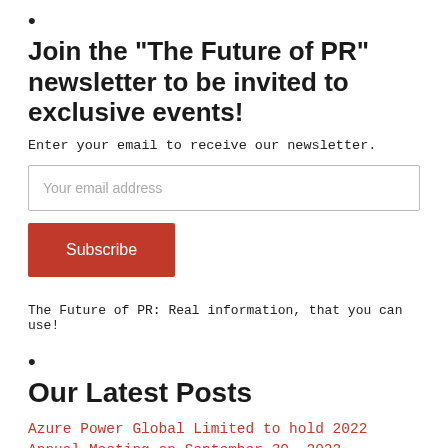•
Join the "The Future of PR" newsletter to be invited to exclusive events!
Enter your email to receive our newsletter.
Your email address
Subscribe
The Future of PR: Real information, that you can use!
•
Our Latest Posts
Azure Power Global Limited to hold 2022 Annual Meeting on September 30, 2022.
India's Organic Products Industry supported by more than 10 million organic farmers is set to witness a steep demand in the